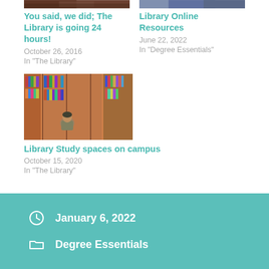[Figure (photo): Partial photo of a person or scene at the library (top left, cropped)]
You said, we did; The Library is going 24 hours!
October 26, 2016
In "The Library"
[Figure (photo): Partial photo of students in a library (top right, cropped)]
Library Online Resources
June 22, 2022
In "Degree Essentials"
[Figure (photo): A student crouching and reading a book in a library aisle with bookshelves and orange floor]
Library Study spaces on campus
October 15, 2020
In "The Library"
January 6, 2022
Degree Essentials